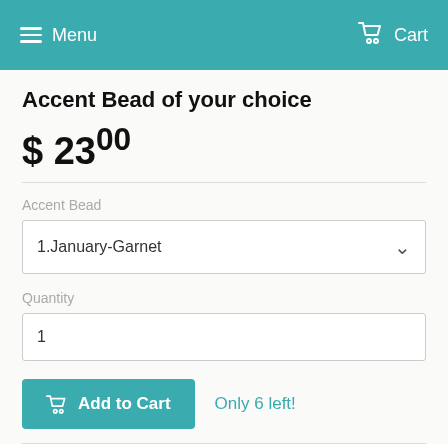Menu  Cart
Accent Bead of your choice
$ 23.00
Accent Bead
1.January-Garnet
Quantity
1
Add to Cart
Only 6 left!